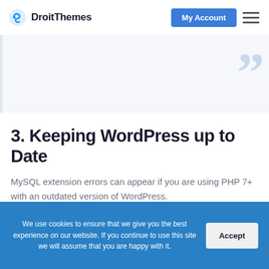DroitThemes | My Account
[Figure (illustration): Light gray banner area with large decorative quotation marks in pale blue on the right side]
3. Keeping WordPress up to Date
MySQL extension errors can appear if you are using PHP 7+ with an outdated version of WordPress.
We use cookies to ensure that we give you the best experience on our website. If you continue to use this site we will assume that you are happy with it.